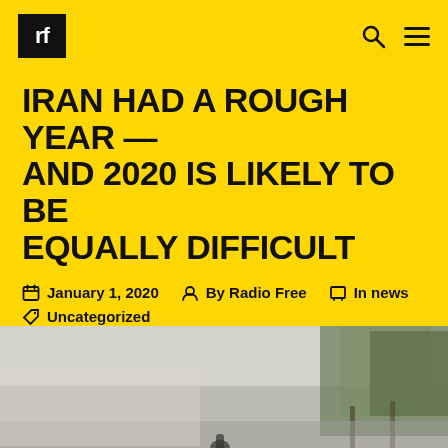rf
IRAN HAD A ROUGH YEAR — AND 2020 IS LIKELY TO BE EQUALLY DIFFICULT
January 1, 2020   By Radio Free   In news   Uncategorized
[Figure (photo): Outdoor scene showing a road with hazy/smoky atmosphere, trees visible on right side, and a person at the bottom center of the image.]